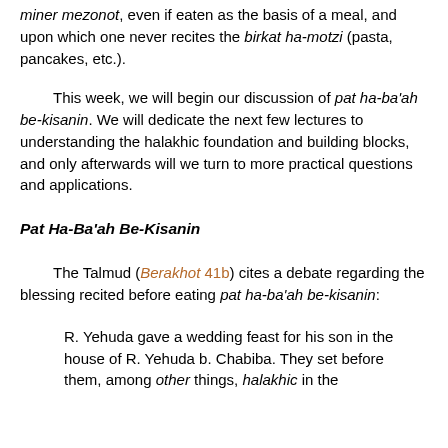miner mezonot, even if eaten as the basis of a meal, and upon which one never recites the birkat ha-motzi (pasta, pancakes, etc.).
This week, we will begin our discussion of pat ha-ba'ah be-kisanin. We will dedicate the next few lectures to understanding the halakhic foundation and building blocks, and only afterwards will we turn to more practical questions and applications.
Pat Ha-Ba'ah Be-Kisanin
The Talmud (Berakhot 41b) cites a debate regarding the blessing recited before eating pat ha-ba'ah be-kisanin:
R. Yehuda gave a wedding feast for his son in the house of R. Yehuda b. Chabiba. They set before them, among other things, halakhic in the...